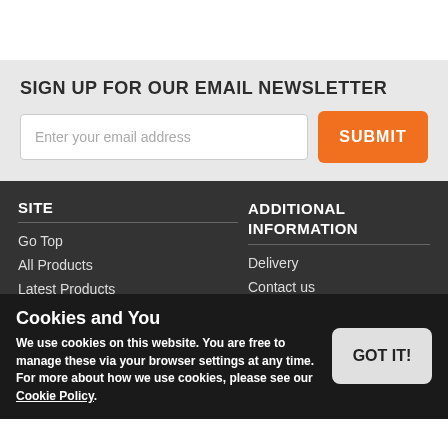SIGN UP FOR OUR EMAIL NEWSLETTER
Enter your email address
SUBMIT
SITE
Go Top
All Products
Latest Products
Site Map
ADDITIONAL INFORMATION
Delivery
Contact us
About us
Terms and Conditions
Privacy policy
Cookies and You
We use cookies on this website. You are free to manage these via your browser settings at any time. For more about how we use cookies, please see our Cookie Policy.
GOT IT!
© 2019 Smart Print and Labelling Ltd. eCommerce Software by Bluepark